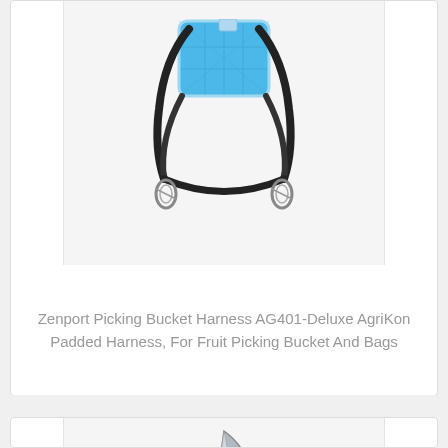[Figure (photo): Zenport AG401 Deluxe AgriKon Padded Picking Bucket Harness shown from front view, blue padded back panel with black straps and metal carabiner hooks at bottom corners]
Zenport Picking Bucket Harness AG401-Deluxe AgriKon Padded Harness, For Fruit Picking Bucket And Bags
[Figure (photo): Silver/grey pruning shears or secateurs shown from side view, with curved blade and ergonomic handle]